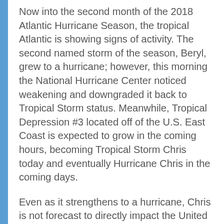Now into the second month of the 2018 Atlantic Hurricane Season, the tropical Atlantic is showing signs of activity. The second named storm of the season, Beryl, grew to a hurricane; however, this morning the National Hurricane Center noticed weakening and downgraded it back to Tropical Storm status. Meanwhile, Tropical Depression #3 located off of the U.S. East Coast is expected to grow in the coming hours, becoming Tropical Storm Chris today and eventually Hurricane Chris in the coming days.
Even as it strengthens to a hurricane, Chris is not forecast to directly impact the United States over the next week. Instead, it will parallel the course, perhaps setting the stage for a collision with the Canadian Maritimes. As it moves up the East Coast, rough surf, large waves and swells, beach erosion, and dangerous rip currents are possible from the Carolinas north to